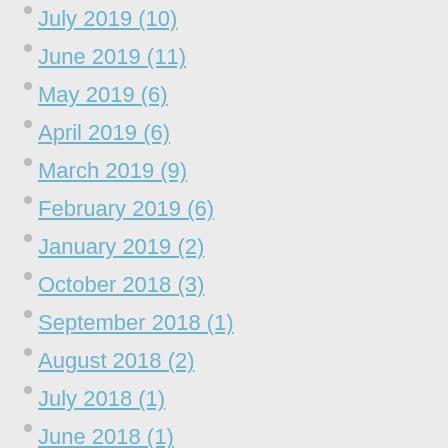July 2019 (10)
June 2019 (11)
May 2019 (6)
April 2019 (6)
March 2019 (9)
February 2019 (6)
January 2019 (2)
October 2018 (3)
September 2018 (1)
August 2018 (2)
July 2018 (1)
June 2018 (1)
May 2018 (3)